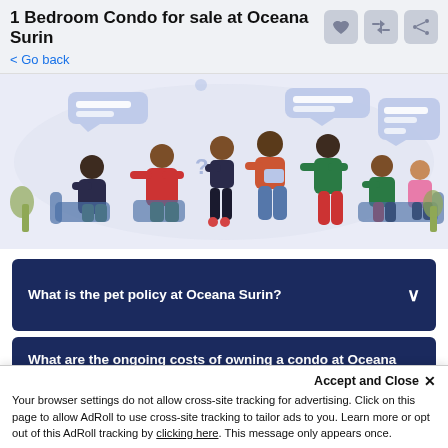1 Bedroom Condo for sale at Oceana Surin
Go back
[Figure (illustration): Vector illustration of a group of people having conversations, with speech bubbles, sitting and standing in a casual meeting setting, in blue and muted tones.]
What is the pet policy at Oceana Surin?
What are the ongoing costs of owning a condo at Oceana Surin?
Accept and Close ✕
Your browser settings do not allow cross-site tracking for advertising. Click on this page to allow AdRoll to use cross-site tracking to tailor ads to you. Learn more or opt out of this AdRoll tracking by clicking here. This message only appears once.